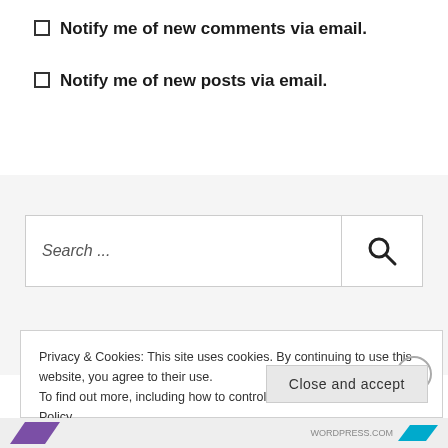Notify me of new comments via email.
Notify me of new posts via email.
Search ...
Privacy & Cookies: This site uses cookies. By continuing to use this website, you agree to their use.
To find out more, including how to control cookies, see here: Cookie Policy
Close and accept